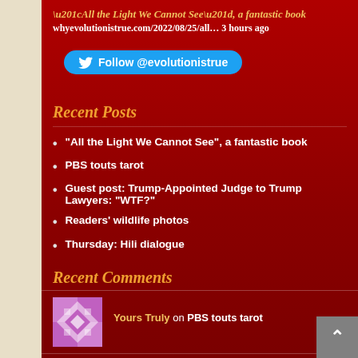“All the Light We Cannot See”, a fantastic book
whyevolutionistrue.com/2022/08/25/all… 3 hours ago
[Figure (other): Twitter Follow button for @evolutionistrue]
Recent Posts
“All the Light We Cannot See”, a fantastic book
PBS touts tarot
Guest post: Trump-Appointed Judge to Trump Lawyers: “WTF?”
Readers’ wildlife photos
Thursday: Hili dialogue
Recent Comments
Yours Truly on PBS touts tarot
silverapplequeen on PBS touts tarot